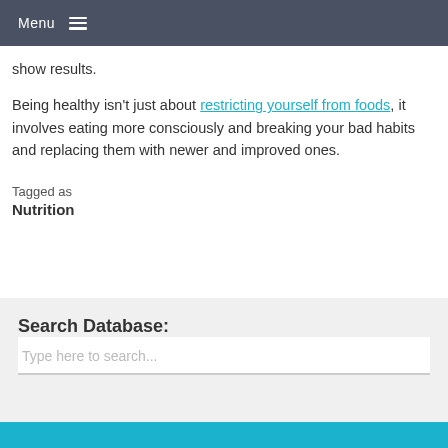Menu
show results.
Being healthy isn't just about restricting yourself from foods, it involves eating more consciously and breaking your bad habits and replacing them with newer and improved ones.
Tagged as
Nutrition
Search Database:
Type here to search...